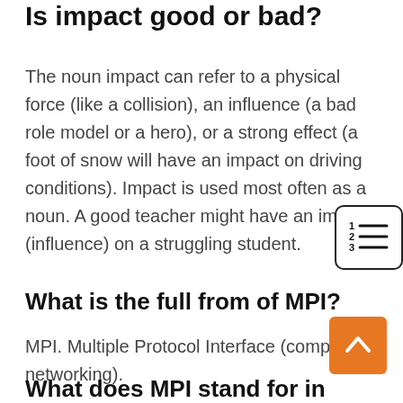Is impact good or bad?
The noun impact can refer to a physical force (like a collision), an influence (a bad role model or a hero), or a strong effect (a foot of snow will have an impact on driving conditions). Impact is used most often as a noun. A good teacher might have an impact (influence) on a struggling student.
[Figure (illustration): Table of contents icon — a small box with lines representing a numbered list (1, 2, 3 with horizontal lines next to each number)]
What is the full from of MPI?
MPI. Multiple Protocol Interface (computer networking).
[Figure (illustration): Orange square button with upward-pointing chevron arrow (back-to-top button)]
What does MPI stand for in